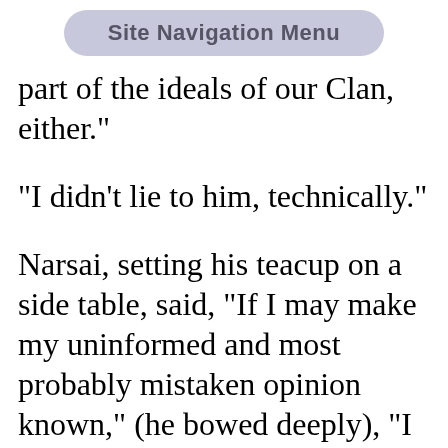Site Navigation Menu
part of the ideals of our Clan, either."
"I didn't lie to him, technically."
Narsai, setting his teacup on a side table, said, "If I may make my uninformed and most probably mistaken opinion known," (he bowed deeply), "I would hazard the